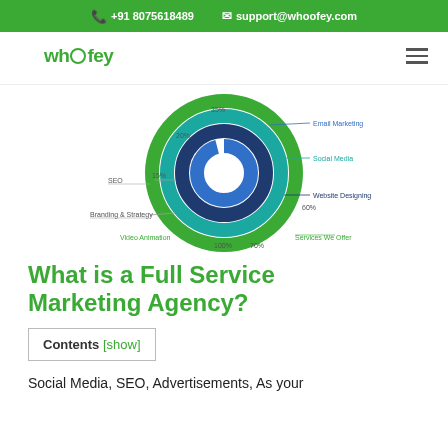+91 8075618489   support@whoofey.com
[Figure (donut-chart): Multi-ring donut/radar chart showing 'Services We Offer' with segments: SEO 15%, Branding & Strategy, Video Animation 100%, Social Media, Website Designing 60%, Email Marketing 35%, with percentage labels at 10%, 15%, 20%, 35%, 60%, 70%, 100%]
What is a Full Service Marketing Agency?
Contents [show]
Social Media, SEO, Advertisements, As your